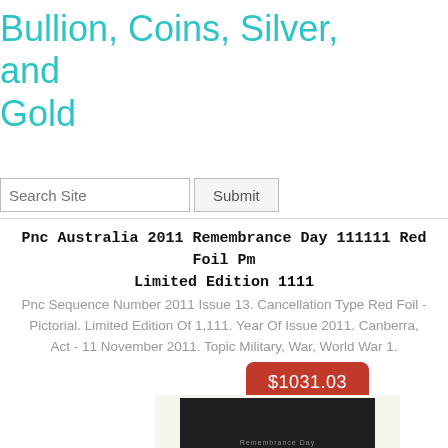Bullion, Coins, Silver, and Gold
Search Site  Submit
Pnc Australia 2011 Remembrance Day 111111 Red Foil Pm Limited Edition 1111
Pnc Sequence Number 2011 Issue 13. Cancellation Type Red Foil - Pictorial. Limited Edition Of 1,111. Year Of Issue 2011. Canberra, Act - 11 November 2011. Topic Military, War, World War 1.
$1031.03
[Figure (photo): Partial view of a dark-colored collectible coin/stamp presentation cover product]